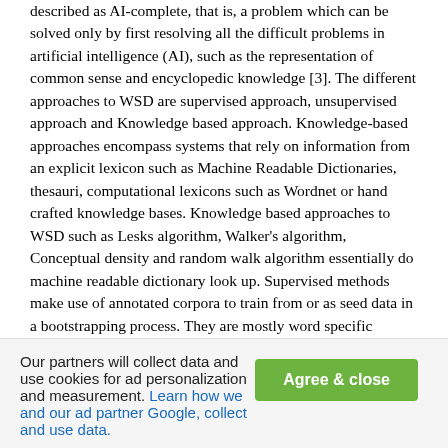described as AI-complete, that is, a problem which can be solved only by first resolving all the difficult problems in artificial intelligence (AI), such as the representation of common sense and encyclopedic knowledge [3]. The different approaches to WSD are supervised approach, unsupervised approach and Knowledge based approach. Knowledge-based approaches encompass systems that rely on information from an explicit lexicon such as Machine Readable Dictionaries, thesauri, computational lexicons such as Wordnet or hand crafted knowledge bases. Knowledge based approaches to WSD such as Lesks algorithm, Walker's algorithm, Conceptual density and random walk algorithm essentially do machine readable dictionary look up. Supervised methods make use of annotated corpora to train from or as seed data in a bootstrapping process. They are mostly word specific classifiers. The examples for supervised learning algorithms are SVM and decision list based algorithms. Unsupervised algorithms work directly from unannotated raw corpora. They have the potential to overcome the new knowledge acquisition bottleneck and
Our partners will collect data and use cookies for ad personalization and measurement. Learn how we and our ad partner Google, collect and use data.
Agree & close